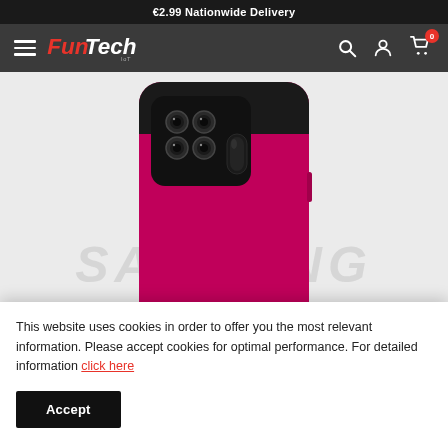€2.99 Nationwide Delivery
[Figure (logo): FunTech IoT logo in red and white italic font]
[Figure (photo): Pink/magenta Samsung phone case shown from the back, with camera cutouts and fingerprint sensor opening, on a light grey background. Samsung watermark visible behind the case.]
This website uses cookies in order to offer you the most relevant information. Please accept cookies for optimal performance. For detailed information click here